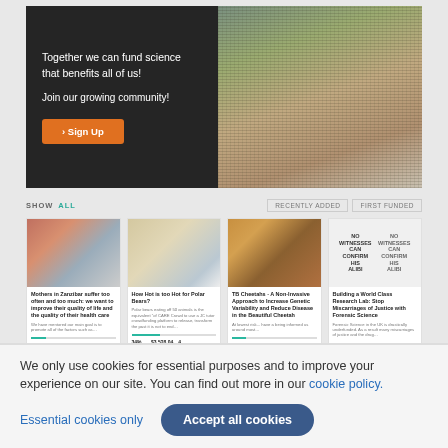[Figure (screenshot): Crowd.Science platform hero banner with text 'Together we can fund science that benefits all of us! Join our growing community!' and a Sign Up button, alongside a crowd photo]
SHOW ALL
[Figure (screenshot): Four science project cards: Mothers in Zanzibar, Polar Bears, TB Cheetahs, Building a World Class Research Lab. Each with image, title, description, progress bar, and funding stats.]
The Crowd.Science platform home page.
We only use cookies for essential purposes and to improve your experience on our site. You can find out more in our cookie policy.
Essential cookies only
Accept all cookies